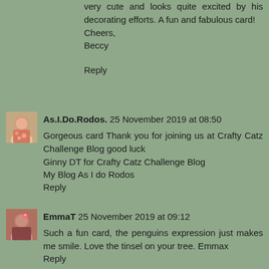very cute and looks quite excited by his decorating efforts. A fun and fabulous card!
Cheers,
Beccy
Reply
[Figure (photo): Small avatar photo of As.I.Do.Rodos commenter, a person with floral clothing]
As.I.Do.Rodos.  25 November 2019 at 08:50
Gorgeous card Thank you for joining us at Crafty Catz Challenge Blog good luck
Ginny DT for Crafty Catz Challenge Blog
My Blog As I do Rodos
Reply
[Figure (photo): Small avatar photo of EmmaT commenter, a person with dark hair and a flower accessory]
EmmaT  25 November 2019 at 09:12
Such a fun card, the penguins expression just makes me smile. Love the tinsel on your tree. Emmax
Reply